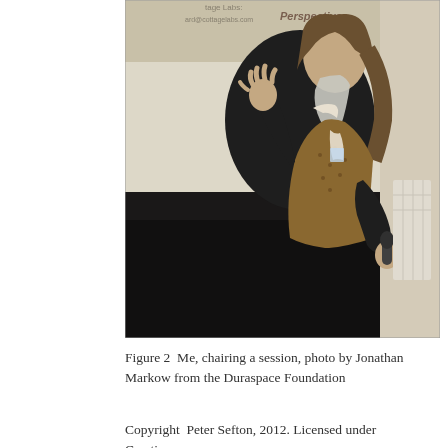[Figure (photo): A man with long hair and a long grey beard, wearing a dark jacket over a patterned vest and white shirt, holding a microphone and gesturing with one hand. He is standing in front of a projection screen showing text including 'Key Perspectives', 'Sheridan Brown', 'Key Perspectives', 'sbrown@keyperspectives.co.uk' and partial text 'tage Labs', 'ard@cottagelabs.com'. The room has cream/beige walls and a white radiator visible on the right.]
Figure 2  Me, chairing a session, photo by Jonathan Markow from the Duraspace Foundation
Copyright  Peter Sefton, 2012. Licensed under Creative